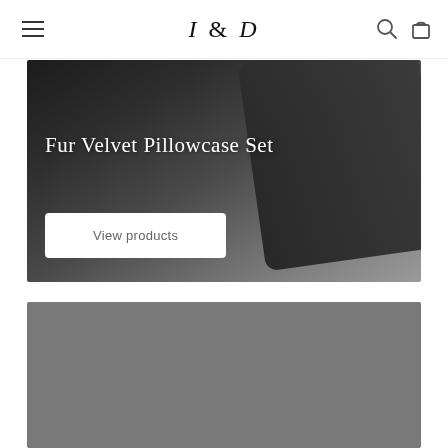I & D
[Figure (photo): Dark velvet/fur pillowcase on a gray surface with text overlay 'Fur Velvet Pillowcase Set' and a 'View products' button]
[Figure (photo): Gray placeholder image block at the bottom of the page]